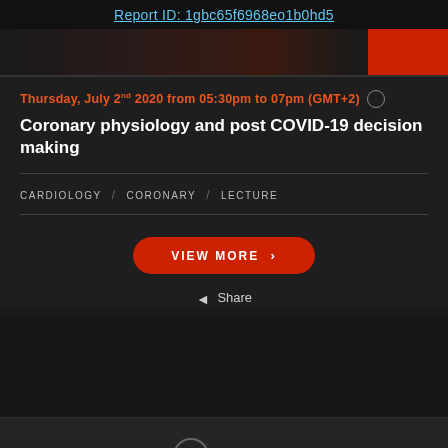Report ID: 1gbc65f6968eo1b0hd5
[Figure (photo): Dark banner image with orange/red graphic overlay and red button on the right]
Thursday, July 2nd 2020 from 05:30pm to 07pm (GMT+2)
Coronary physiology and post COVID-19 decision making
CARDIOLOGY / CORONARY / LECTURE
VIEW MORE >
Share
Scroll Up
English / Français / About lpcathlab